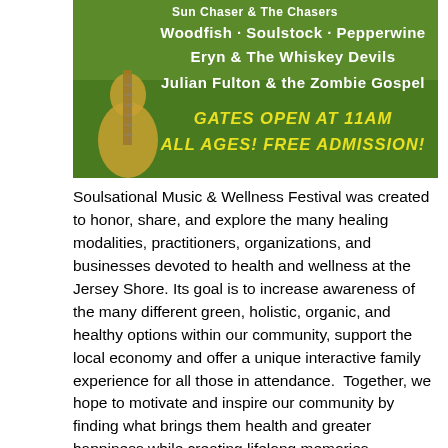[Figure (illustration): Festival promo image with green background showing guitar on left. Text: 'Sun Chaser & The Chasers, Woodfish · Soulstock · Pepperwine, Eryn & The Whiskey Devils, Julian Fulton & the Zombie Gospel, GATES OPEN AT 11AM, ALL AGES! FREE ADMISSION!']
Soulsational Music & Wellness Festival was created to honor, share, and explore the many healing modalities, practitioners, organizations, and businesses devoted to health and wellness at the Jersey Shore. Its goal is to increase awareness of the many different green, holistic, organic, and healthy options within our community, support the local economy and offer a unique interactive family experience for all those in attendance.  Together, we hope to motivate and inspire our community by finding what brings them health and greater happiness while creating lifelong memories.
The festival is expected to reach an audience of over 5,000 people with continuous dual stage entertainment including great local original New Jersey musicians, numerous free group classes, A kids village, an art gallery, poets corner and live demonstrations. The day is packed with a full schedule of events for the entire family, all day long.